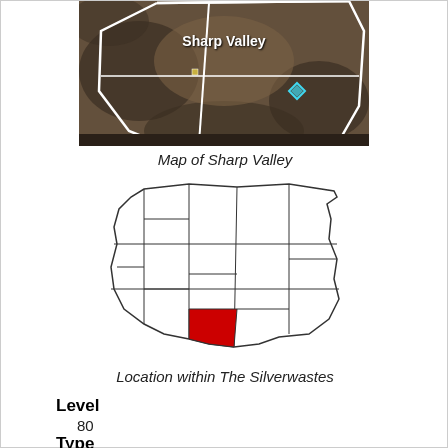[Figure (screenshot): In-game screenshot map of Sharp Valley area with label 'Sharp Valley' and zone boundaries marked in white lines on a dark terrain background.]
Map of Sharp Valley
[Figure (map): Outline map of The Silverwastes region showing zone subdivisions. One region in the lower-center is highlighted in red indicating the location of Sharp Valley.]
Location within The Silverwastes
Level
80
Type
Area